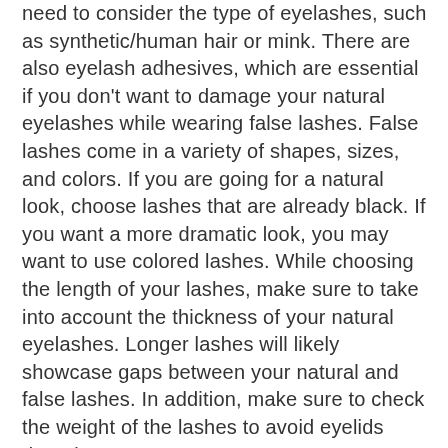need to consider the type of eyelashes, such as synthetic/human hair or mink. There are also eyelash adhesives, which are essential if you don't want to damage your natural eyelashes while wearing false lashes. False lashes come in a variety of shapes, sizes, and colors. If you are going for a natural look, choose lashes that are already black. If you want a more dramatic look, you may want to use colored lashes. While choosing the length of your lashes, make sure to take into account the thickness of your natural eyelashes. Longer lashes will likely showcase gaps between your natural and false lashes. In addition, make sure to check the weight of the lashes to avoid eyelids drooping.